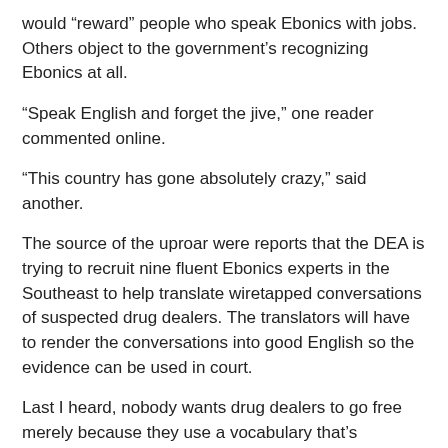would “reward” people who speak Ebonics with jobs. Others object to the government’s recognizing Ebonics at all.
“Speak English and forget the jive,” one reader commented online.
“This country has gone absolutely crazy,” said another.
The source of the uproar were reports that the DEA is trying to recruit nine fluent Ebonics experts in the Southeast to help translate wiretapped conversations of suspected drug dealers. The translators will have to render the conversations into good English so the evidence can be used in court.
Last I heard, nobody wants drug dealers to go free merely because they use a vocabulary that’s unintelligible to white-bread investigators. It’s hard to fault the government for hiring contract workers who can comprehend and testify about what criminals say. The program isn’t without potential problems, however. It’s unclear how the proficiency of Ebonics experts will be proved to judges’ satisfaction. That’s an issue for another day.